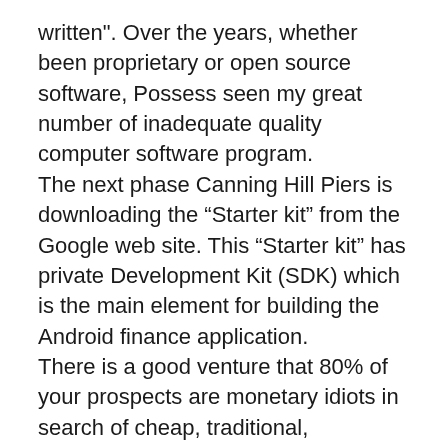written". Over the years, whether been proprietary or open source software, Possess seen my great number of inadequate quality computer software program.
The next phase Canning Hill Piers is downloading the “Starter kit” from the Google web site. This “Starter kit” has private Development Kit (SDK) which is the main element for building the Android finance application.
There is a good venture that 80% of your prospects are monetary idiots in search of cheap, traditional, conventional, comfortable and convenient solutions, an individual and your people nothing but headaches and stomach peptic issues. Get thecanninghills